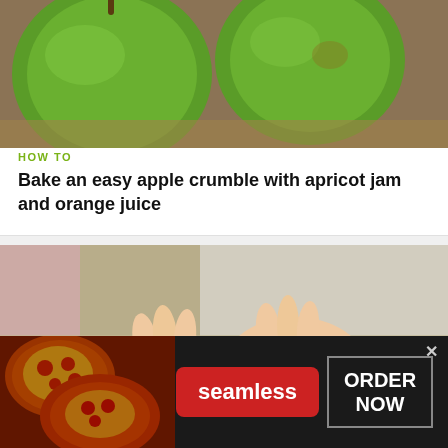[Figure (photo): Close-up photo of green apples on a wooden surface]
HOW TO
Bake an easy apple crumble with apricot jam and orange juice
[Figure (photo): Hands working with crafting materials on a table, folding what appears to be a decorative flower]
HOW TO
[Figure (infographic): Seamless food delivery advertisement banner with pizza image, Seamless logo in red, and ORDER NOW button]